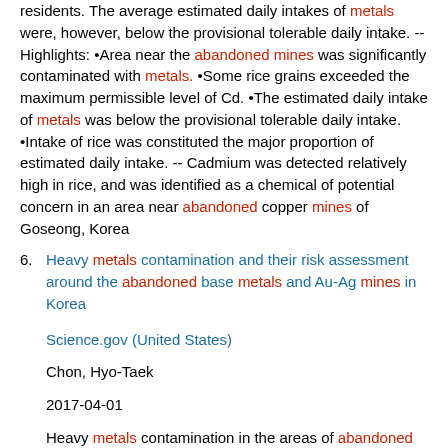residents. The average estimated daily intakes of metals were, however, below the provisional tolerable daily intake. -- Highlights: •Area near the abandoned mines was significantly contaminated with metals. •Some rice grains exceeded the maximum permissible level of Cd. •The estimated daily intake of metals was below the provisional tolerable daily intake. •Intake of rice was constituted the major proportion of estimated daily intake. -- Cadmium was detected relatively high in rice, and was identified as a chemical of potential concern in an area near abandoned copper mines of Goseong, Korea
6. Heavy metals contamination and their risk assessment around the abandoned base metals and Au-Ag mines in Korea
Science.gov (United States)
Chon, Hyo-Taek
2017-04-01
Heavy metals contamination in the areas of abandoned Au-Ag and base metal mines in Korea was investigated in order to assess the level of metal pollution, and to draw general summaries about the fate of toxic heavy metals in different